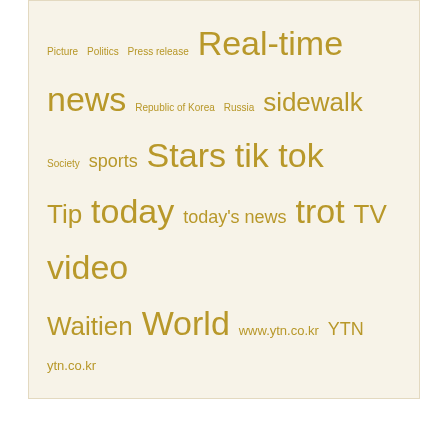[Figure (infographic): Tag cloud with gold/yellow-brown colored tags of various sizes on a light beige background. Tags include: Picture, Politics, Press release, Real-time news, Republic of Korea, Russia, sidewalk, Society, sports, Stars, tik tok, Tip, today, today's news, trot, TV, video, Waitien, World, www.ytn.co.kr, YTN, ytn.co.kr]
Related News